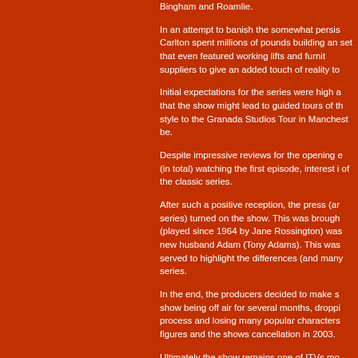Bingham and Roamlie.
In an attempt to banish the somewhat persis Carlton spent millions of pounds building an set that even featured working lifts and furni suppliers to give an added touch of reality to
Initial expectations for the series were high a that the show might lead to guided tours of th style to the Granada Studios Tour in Mancheste be.
Despite impressive reviews for the opening e (in total) watching the first episode, interest i of the classic series.
After such a positive reception, the press (ar series) turned on the show. This was brough (played since 1964 by Jane Rossington) was new husband Adam (Tony Adams). This was served to highlight the differences (and many series.
In the end, the producers decided to make s show being off air for several months, droppi process and losing many popular characters figures and the shows cancellation in 2003.
Ultimately the show remains one of ITVs mo having regularly reached audiences of 3.5 m